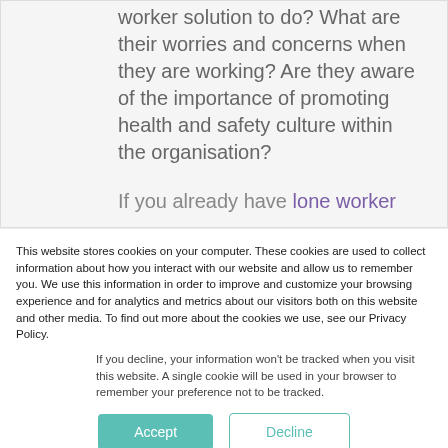worker solution to do? What are their worries and concerns when they are working? Are they aware of the importance of promoting health and safety culture within the organisation?
If you already have lone worker
This website stores cookies on your computer. These cookies are used to collect information about how you interact with our website and allow us to remember you. We use this information in order to improve and customize your browsing experience and for analytics and metrics about our visitors both on this website and other media. To find out more about the cookies we use, see our Privacy Policy.
If you decline, your information won't be tracked when you visit this website. A single cookie will be used in your browser to remember your preference not to be tracked.
Accept
Decline